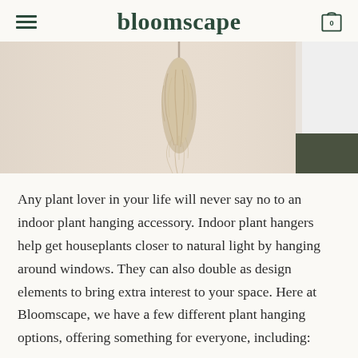bloomscape
[Figure (photo): A hanging dried pampas grass or similar dried plant accessory suspended from above, with a beige/cream wall background. A person wearing a white top and dark olive/green pants is partially visible on the right side.]
Any plant lover in your life will never say no to an indoor plant hanging accessory. Indoor plant hangers help get houseplants closer to natural light by hanging around windows. They can also double as design elements to bring extra interest to your space. Here at Bloomscape, we have a few different plant hanging options, offering something for everyone, including: